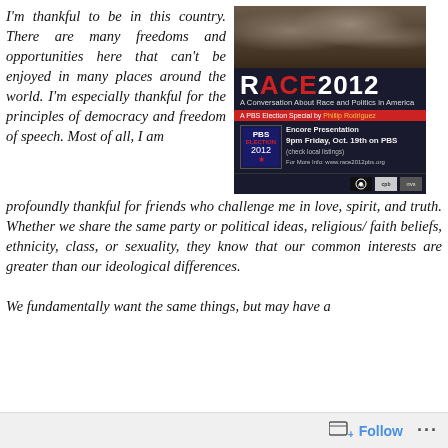I'm thankful to be in this country. There are many freedoms and opportunities here that can't be enjoyed in many places around the world. I'm especially thankful for the principles of democracy and freedom of speech. Most of all, I am profoundly thankful for friends who challenge me in love, spirit, and truth. Whether we share the same party or political ideas, religious/ faith beliefs, ethnicity, class, or sexuality, they know that our common interests are greater than our ideological differences.

We fundamentally want the same things, but may have a
[Figure (other): RACE 2012 PBS Election Special advertisement. Dark background with crowd photo. Title reads 'RACE 2012' with ACE in red. Subtitle: 'A Conversation About Race and Politics in America'. Red bar: 'A PBS Election Special by Phillip Rodriguez'. PBS Election 2012 logo. Text: 'Encore Presentation 9pm Friday, Oct. 19th on PBS (check local listings)'. 'For More Info: www.race2012pbs.org'. PBS, CPB and other logos at bottom.]
Follow ···